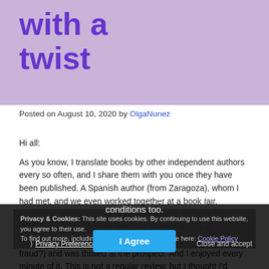with a twist
Posted on August 10, 2020 by OlgaNunez
Hi all:

As you know, I translate books by other independent authors every so often, and I share them with you once they have been published. A Spanish author (from Zaragoza), whom I had met, and we even worked together at a book fair, Francisco Tessainer, asked me to translate his book into English. I had been quite intrigued by the premise of his book (the subtitle of the book is: What if Leonardo's life had been a fraud?) and was thrilled at the prospect. And I enjoyed every minute of it. This is not a regular review, but I thought I'd share with you...
Please, check my privacy page. You can request to get all the information collected in this blog. Check my terms and conditions too.
Privacy & Cookies: This site uses cookies. By continuing to use this website, you agree to their use.
To find out more, including how to control cookies, see here: Cookie Policy
Privacy Preferences
I Agree
Close and accept